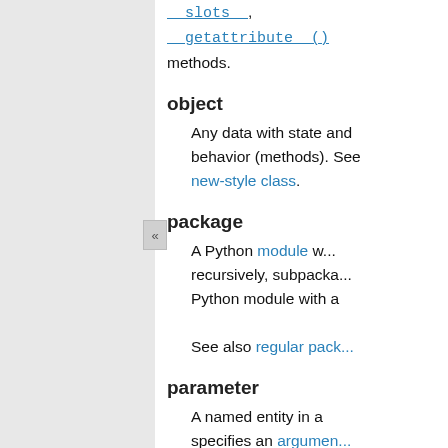could use Python __slots__, __getattribute__() methods.
object
Any data with state and behavior (methods). See new-style class.
package
A Python module which can contain subpackages recursively, subpackages. Python module with a...
See also regular pack...
parameter
A named entity in a function definition that specifies an argument the function can accept.